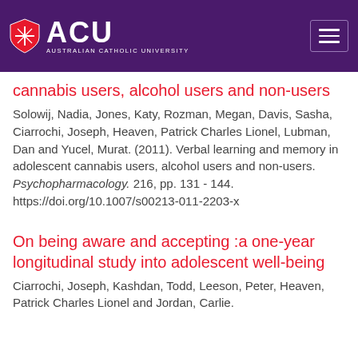[Figure (logo): ACU Australian Catholic University logo and navigation header with purple background]
cannabis users, alcohol users and non-users
Solowij, Nadia, Jones, Katy, Rozman, Megan, Davis, Sasha, Ciarrochi, Joseph, Heaven, Patrick Charles Lionel, Lubman, Dan and Yucel, Murat. (2011). Verbal learning and memory in adolescent cannabis users, alcohol users and non-users. Psychopharmacology. 216, pp. 131 - 144. https://doi.org/10.1007/s00213-011-2203-x
On being aware and accepting :a one-year longitudinal study into adolescent well-being
Ciarrochi, Joseph, Kashdan, Todd, Leeson, Peter, Heaven, Patrick Charles Lionel and Jordan, Carlie.